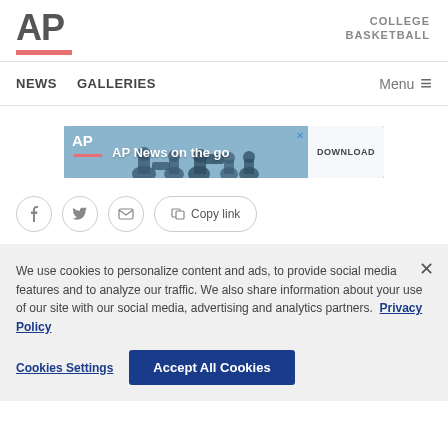AP — COLLEGE BASKETBALL
NEWS   GALLERIES   Menu
[Figure (screenshot): AP News on the go advertisement banner with silhouetted reporters and a DOWNLOAD button]
Facebook share, Twitter share, Email share, Copy link buttons
We use cookies to personalize content and ads, to provide social media features and to analyze our traffic. We also share information about your use of our site with our social media, advertising and analytics partners. Privacy Policy

Cookies Settings    Accept All Cookies